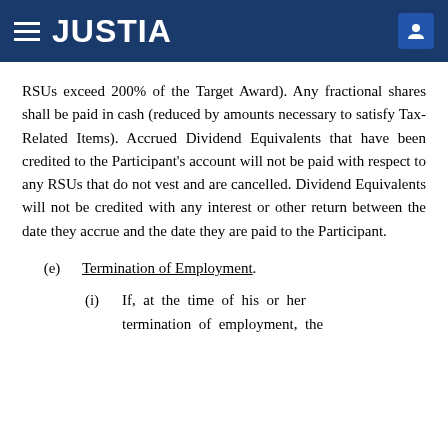JUSTIA
RSUs exceed 200% of the Target Award). Any fractional shares shall be paid in cash (reduced by amounts necessary to satisfy Tax-Related Items). Accrued Dividend Equivalents that have been credited to the Participant's account will not be paid with respect to any RSUs that do not vest and are cancelled. Dividend Equivalents will not be credited with any interest or other return between the date they accrue and the date they are paid to the Participant.
(e)  Termination of Employment.
(i)  If, at the time of his or her termination of employment, the